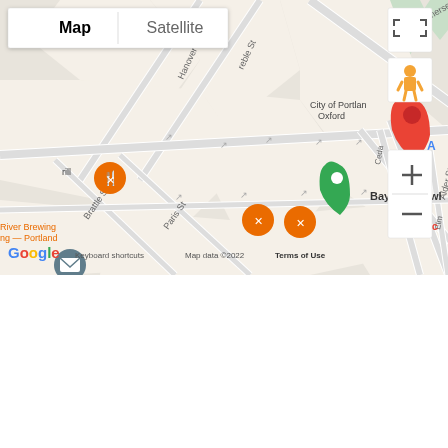[Figure (map): Google Maps screenshot showing the area around Bayside Bowl in Portland, Maine. Shows streets including Somerset St, Hanover St, Treble St, Brattle St, Paris St, Alder St, Cedar Ave, Elm Ave. Includes Map/Satellite toggle, fullscreen button, pegman, zoom controls, Google logo, and map attribution. Markers visible for Bayside Bowl (green), a red location pin, and orange restaurant/food markers. City of Portland and Oxford St labels visible.]